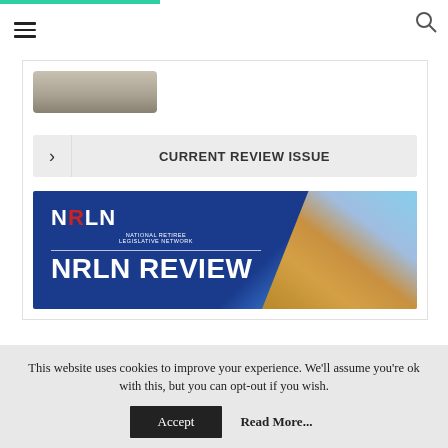[Figure (screenshot): Website screenshot showing NRLN (National Retiree Legislative Network) page with hamburger menu, search icon, partial magazine image, 'Current Review Issue' button, and NRLN Review banner with Capitol building image]
CURRENT REVIEW ISSUE
[Figure (logo): NRLN Review banner with logo and US Capitol building photograph]
This website uses cookies to improve your experience. We'll assume you're ok with this, but you can opt-out if you wish.
Accept
Read More...